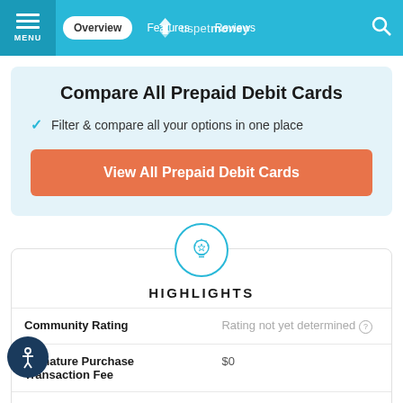MENU | Overview | Features | Reviews | uspetmoney
Compare All Prepaid Debit Cards
Filter & compare all your options in one place
View All Prepaid Debit Cards
HIGHLIGHTS
|  |  |
| --- | --- |
| Community Rating | Rating not yet determined |
| Signature Purchase Transaction Fee | $0 |
| PIN Purchase Transaction | $0 |